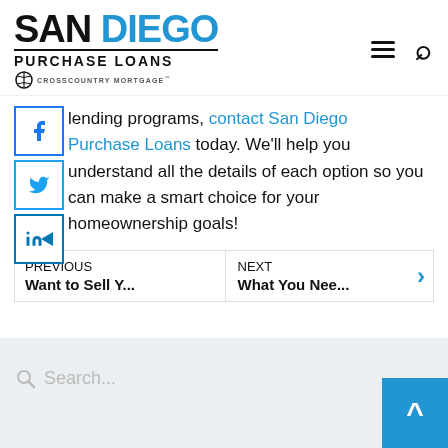SAN DIEGO PURCHASE LOANS — CrossCountry Mortgage
lending programs, contact San Diego Purchase Loans today. We'll help you understand all the details of each option so you can make a smart choice for your homeownership goals!
PREVIOUS Want to Sell Y... NEXT What You Nee...
Search...